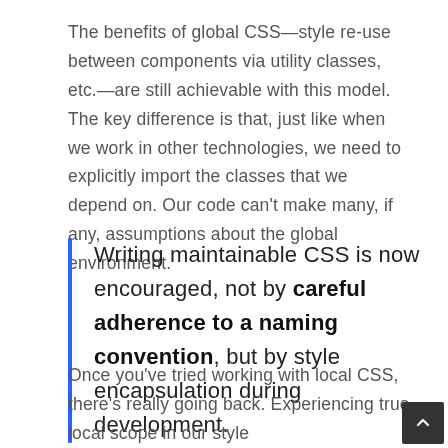The benefits of global CSS—style re-use between components via utility classes, etc.—are still achievable with this model. The key difference is that, just like when we work in other technologies, we need to explicitly import the classes that we depend on. Our code can't make many, if any, assumptions about the global environment.
Writing maintainable CSS is now encouraged, not by careful adherence to a naming convention, but by style encapsulation during development.
Once you've tried working with local CSS, there's really going back. Experiencing true local scope in our style